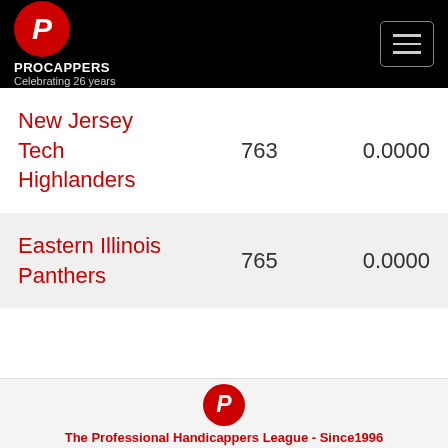PROCAPPERS Celebrating 26 years
| New Jersey Tech Highlanders | 763 | 0.0000 |
| Eastern Illinois Panthers | 765 | 0.0000 |
Showing 1 to 355 of 355 entries
The Professional Handicappers League - Since1996